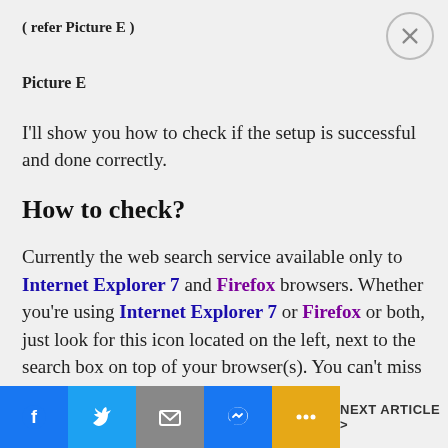( refer Picture E )
Picture E
I'll show you how to check if the setup is successful and done correctly.
How to check?
Currently the web search service available only to Internet Explorer 7 and Firefox browsers. Whether you're using Internet Explorer 7 or Firefox or both, just look for this icon located on the left, next to the search box on top of your browser(s). You can't miss it.
[Figure (infographic): Social sharing toolbar at bottom with Facebook, Twitter, Mail, Messenger, More buttons and NEXT ARTICLE link]